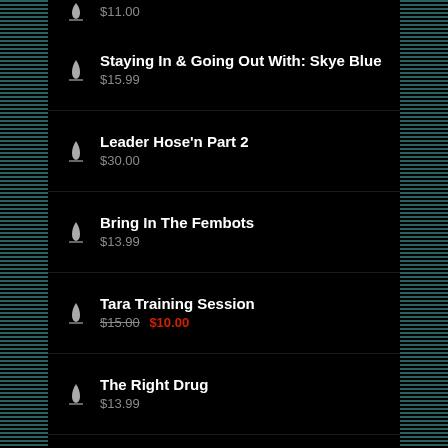$11.00 (partial, top of page)
Staying In & Going Out With: Skye Blue
$15.99
Leader Hose'n Part 2
$30.00
Bring In The Fembots
$13.99
Tara Training Session
$15.00 $10.00
The Right Drug
$13.99
The Knockout Week
$14.99 (partial)